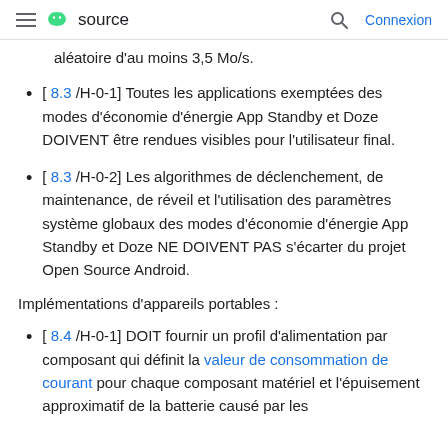≡ android source | search | Connexion
aléatoire d'au moins 3,5 Mo/s.
[ 8.3 /H-0-1] Toutes les applications exemptées des modes d'économie d'énergie App Standby et Doze DOIVENT être rendues visibles pour l'utilisateur final.
[ 8.3 /H-0-2] Les algorithmes de déclenchement, de maintenance, de réveil et l'utilisation des paramètres système globaux des modes d'économie d'énergie App Standby et Doze NE DOIVENT PAS s'écarter du projet Open Source Android.
Implémentations d'appareils portables :
[ 8.4 /H-0-1] DOIT fournir un profil d'alimentation par composant qui définit la valeur de consommation de courant pour chaque composant matériel et l'épuisement approximatif de la batterie causé par les